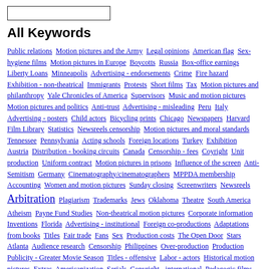All Keywords
Public relations Motion pictures and the Army Legal opinions American flag Sex-hygiene films Motion pictures in Europe Boycotts Russia Box-office earnings Liberty Loans Minneapolis Advertising - endorsements Crime Fire hazard Exhibition - non-theatrical Immigrants Protests Short films Tax Motion pictures and philanthropy Yale Chronicles of America Supervisors Music and motion pictures Motion pictures and politics Anti-trust Advertising - misleading Peru Italy Advertising - posters Child actors Bicycling prints Chicago Newspapers Harvard Film Library Statistics Newsreels censorship Motion pictures and moral standards Tennessee Pennsylvania Acting schools Foreign locations Turkey Exhibition Austria Distribution - booking circuits Canada Censorship - fees Coyright Unit production Uniform contract Motion pictures in prisons Influence of the screen Anti-Semitism Germany Cinematography/cinematographers MPPDA membership Accounting Women and motion pictures Sunday closing Screenwriters Newsreels Arbitration Plagiarism Trademarks Jews Oklahoma Theatre South America Atheism Payne Fund Studies Non-theatrical motion pictures Corporate information Inventions Florida Advertising - institutional Foreign co-productions Adaptations from books Titles Fair trade Fans Sex Production costs The Open Door Stars Atlanta Audience research Censorship Philippines Over-production Production Publicity - Greater Movie Season Titles - offensive Labor - actors Historical motion pictures Extras Americanization Serials Copyright - international Pedagogic films Religious films Foreign films in the US